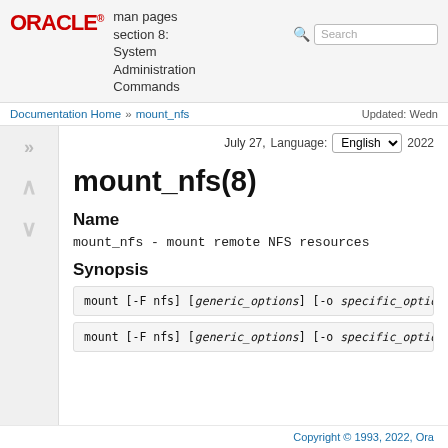ORACLE man pages section 8: System Administration Commands
Documentation Home » mount_nfs  Updated: Wednesday July 27, 2022
Language: English  2022
mount_nfs(8)
Name
mount_nfs - mount remote NFS resources
Synopsis
mount [-F nfs] [generic_options] [-o specific_options] [-O] resource
mount [-F nfs] [generic_options] [-o specific_options] [-O] mou
Copyright © 1993, 2022, Ora